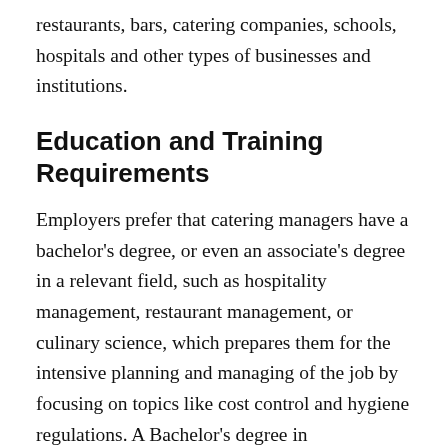restaurants, bars, catering companies, schools, hospitals and other types of businesses and institutions.
Education and Training Requirements
Employers prefer that catering managers have a bachelor's degree, or even an associate's degree in a relevant field, such as hospitality management, restaurant management, or culinary science, which prepares them for the intensive planning and managing of the job by focusing on topics like cost control and hygiene regulations. A Bachelor's degree in